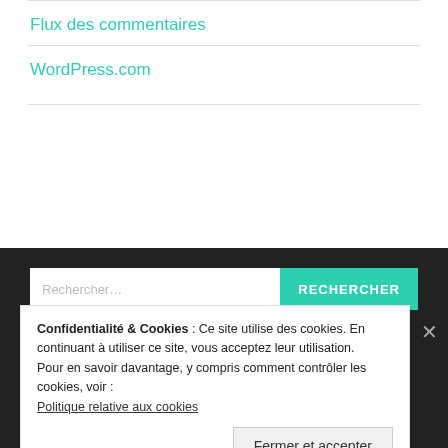Flux des commentaires
WordPress.com
Confidentialité & Cookies : Ce site utilise des cookies. En continuant à utiliser ce site, vous acceptez leur utilisation.
Pour en savoir davantage, y compris comment contrôler les cookies, voir :
Politique relative aux cookies
Fermer et accepter